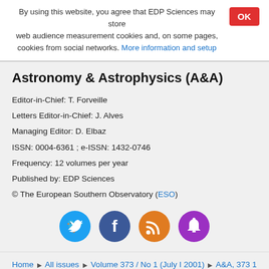By using this website, you agree that EDP Sciences may store web audience measurement cookies and, on some pages, cookies from social networks. More information and setup
Astronomy & Astrophysics (A&A)
Editor-in-Chief: T. Forveille
Letters Editor-in-Chief: J. Alves
Managing Editor: D. Elbaz
ISSN: 0004-6361 ; e-ISSN: 1432-0746
Frequency: 12 volumes per year
Published by: EDP Sciences
© The European Southern Observatory (ESO)
[Figure (infographic): Four social media icons in circles: Twitter (blue), Facebook (dark blue), RSS (orange), Notifications (purple)]
Home ▶ All issues ▶ Volume 373 / No 1 (July I 2001) ▶ A&A, 373 1 (2001) 153-158 ▶ Abstract